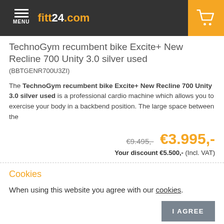fitt24.com
TechnoGym recumbent bike Excite+ New Recline 700 Unity 3.0 silver used
(BBTGENR700U3ZI)
The TechnoGym recumbent bike Excite+ New Recline 700 Unity 3.0 silver used is a professional cardio machine which allows you to exercise your body in a backbend position. The large space between the
€9.495,- €3.995,- Your discount €5.500,- (Incl. VAT)
Cookies
When using this website you agree with our cookies.